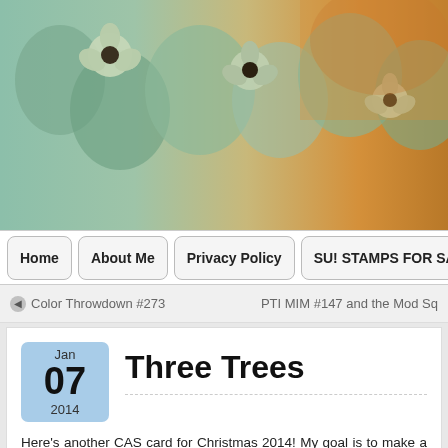[Figure (illustration): Decorative floral banner with light blue, green, orange flowers on a mixed teal and orange background]
Home | About Me | Privacy Policy | SU! STAMPS FOR SALE
Color Throwdown #273    PTI MIM #147 and the Mod Sq
Three Trees
Here's another CAS card for Christmas 2014!  My goal is to make a couple of Christmas cards each month between now and October so during the holiday crunch time I will already have several designs to choose from to mass produce.  It's the designing and not the producing that tends to take the most time for me.  That's the theory anyway!
[Figure (photo): Partial view of a card or craft project image at bottom of page]